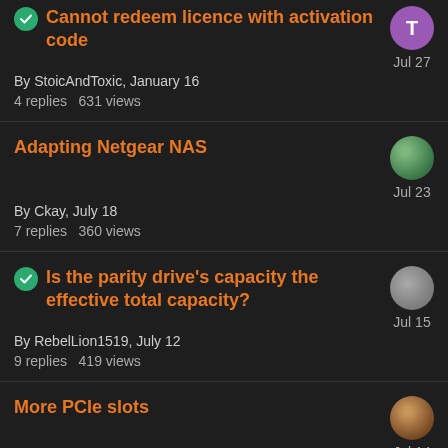Cannot redeem licence with activation code
By StoicAndToxic, January 16
4 replies   631 views
Jul 27
Adapting Netgear NAS
By Ckay, July 18
7 replies   360 views
Jul 23
Is the parity drive's capacity the effective total capacity?
By RebelLion1519, July 12
9 replies   419 views
Jul 15
More PCIe slots
By Johnomjr, July 14
0 replies   200 views
Jul 14
Can you use usb boot drive larger than 32gb?